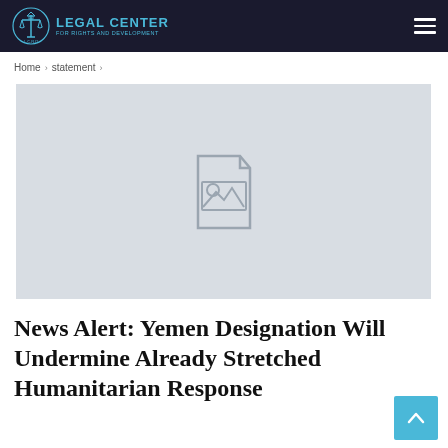LEGAL CENTER FOR RIGHTS AND DEVELOPMENT
Home > statement >
[Figure (photo): Placeholder image with a document/image icon on a light gray background]
News Alert: Yemen Designation Will Undermine Already Stretched Humanitarian Response